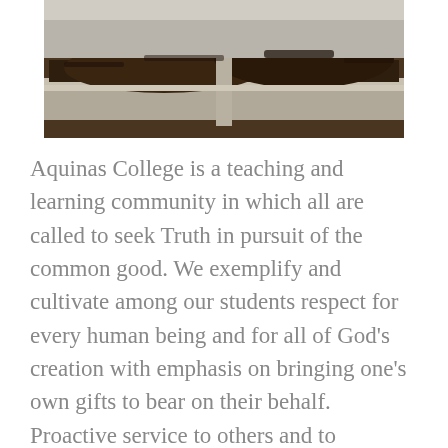[Figure (photo): Outdoor photo showing a concrete planter or raised bed structure with dark soil or compost piled up, taken outdoors with a light sky background.]
Aquinas College is a teaching and learning community in which all are called to seek Truth in pursuit of the common good. We exemplify and cultivate among our students respect for every human being and for all of God's creation with emphasis on bringing one's own gifts to bear on their behalf. Proactive service to others and to sustaining the health of all of creation is valued as an essential element of daily life. Service is one of the four pillars of Dominican life along with